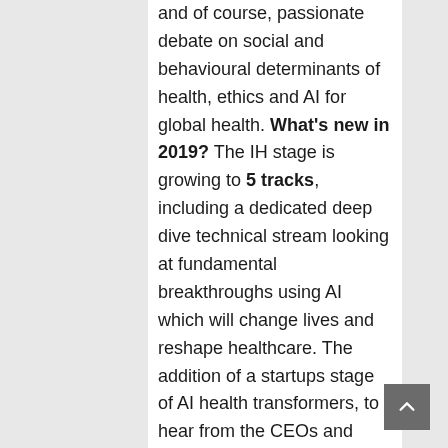and of course, passionate debate on social and behavioural determinants of health, ethics and AI for global health. What's new in 2019? The IH stage is growing to 5 tracks, including a dedicated deep dive technical stream looking at fundamental breakthroughs using AI which will change lives and reshape healthcare. The addition of a startups stage of AI health transformers, to hear from the CEOs and Founders of the most disruptive AI health tech companies of tomorrow. More dedicated content for CMIOs and clinicians with hands-on